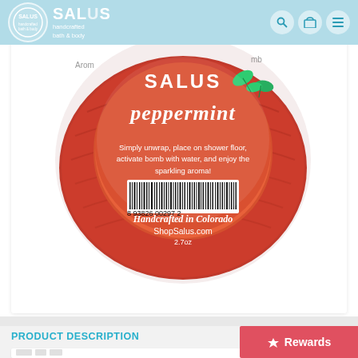SALUS handcrafted bath & body
[Figure (photo): Close-up photo of a round SALUS Peppermint aroma shower bomb in red foil wrapping. The label reads: SALUS peppermint. Simply unwrap, place on shower floor, activate bomb with water, and enjoy the sparkling aroma! Barcode 8 93826 00297 2. Handcrafted in Colorado. ShopSalus.com. 2.7oz]
PRODUCT DESCRIPTION
Rewards